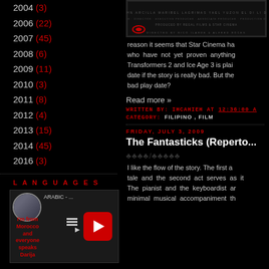2004 (3)
2006 (22)
2007 (45)
2008 (6)
2009 (11)
2010 (3)
2011 (8)
2012 (4)
2013 (15)
2014 (45)
2016 (3)
LANGUAGES
[Figure (screenshot): YouTube video widget showing Arabic language learning video with circular avatar, channel name 'I'm from Morocco and everyone speaks Darija', playlist icon]
[Figure (screenshot): Movie poster image, dark background with film credits text]
reason it seems that Star Cinema has who have not yet proven anything Transformers 2 and Ice Age 3 is plain date if the story is really bad. But the bad play date?
Read more »
WRITTEN BY: IHCAHIEH AT 12:36:00 A
CATEGORY: FILIPINO, FILM
FRIDAY, JULY 3, 2009
The Fantasticks (Reperto...
♣♣♣♣/♣♣♣♣♣
I like the flow of the story. The first a tale and the second act serves as it The pianist and the keyboardist ar minimal musical accompaniment th